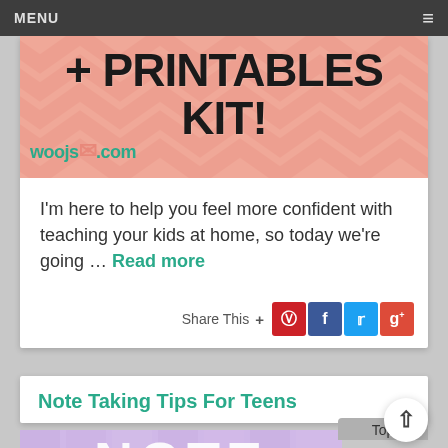MENU
[Figure (illustration): Promotional banner with chevron pattern background in salmon/pink color, large bold text reading '+ PRINTABLES KIT!' and woojs.com logo with character illustration]
I'm here to help you feel more confident with teaching your kids at home, so today we're going … Read more
Share This +
Note Taking Tips For Teens
[Figure (illustration): Colorful banner with purple striped background and large white 3D letters spelling 'NOTE']